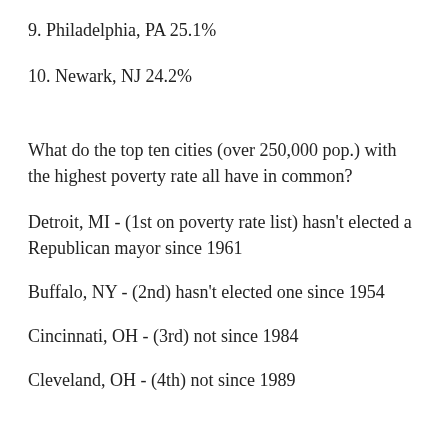9. Philadelphia, PA 25.1%
10. Newark, NJ 24.2%
What do the top ten cities (over 250,000 pop.) with the highest poverty rate all have in common?
Detroit, MI - (1st on poverty rate list) hasn't elected a Republican mayor since 1961
Buffalo, NY - (2nd) hasn't elected one since 1954
Cincinnati, OH - (3rd) not since 1984
Cleveland, OH - (4th) not since 1989